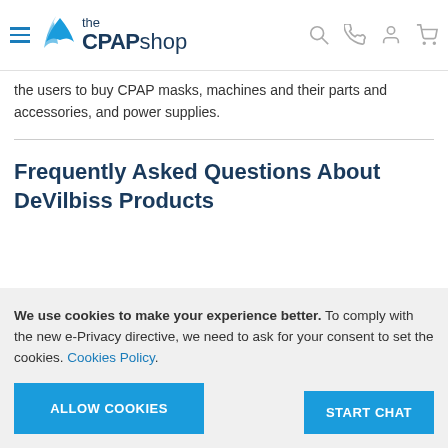the CPAP shop
the users to buy CPAP masks, machines and their parts and accessories, and power supplies.
Frequently Asked Questions About DeVilbiss Products
We use cookies to make your experience better. To comply with the new e-Privacy directive, we need to ask for your consent to set the cookies. Cookies Policy.